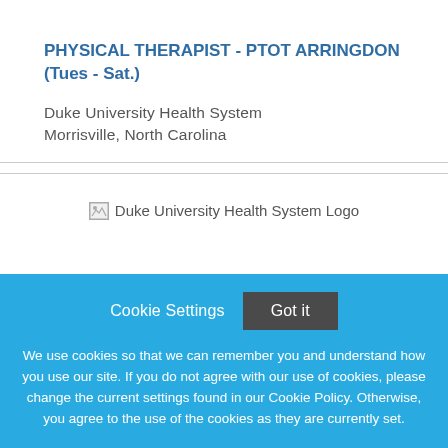PHYSICAL THERAPIST - PTOT ARRINGDON (Tues - Sat.)
Duke University Health System
Morrisville, North Carolina
[Figure (logo): Duke University Health System Logo (broken image placeholder)]
Cookie Settings   Got it
We use cookies so that we can remember you and understand how you use our site. If you do not agree with our use of cookies, please change the current settings found in our Cookie Policy. Otherwise, you agree to the use of the cookies as they are currently set.